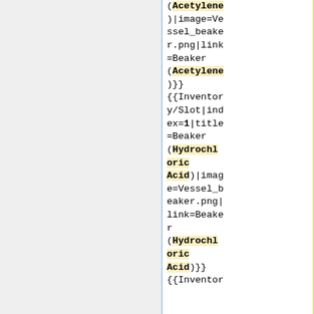(Acetylene)|image=Vessel_beaker.png|link=Beaker (Acetylene)}}
{{Inventory/Slot|index=1|title=Beaker (Hydrochloric Acid)|image=Vessel_beaker.png|link=Beaker (Hydrochloric Acid)}}
{{Inventor